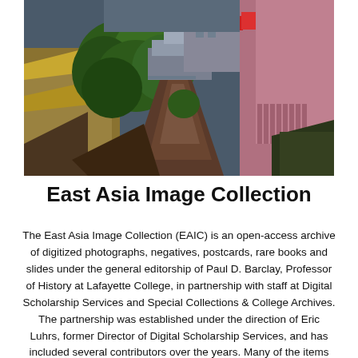[Figure (photo): Aerial view of East Asian city street with traditional rooftops, trees, red and yellow buildings, and a narrow pathway with pedestrians visible.]
East Asia Image Collection
The East Asia Image Collection (EAIC) is an open-access archive of digitized photographs, negatives, postcards, rare books and slides under the general editorship of Paul D. Barclay, Professor of History at Lafayette College, in partnership with staff at Digital Scholarship Services and Special Collections & College Archives. The partnership was established under the direction of Eric Luhrs, former Director of Digital Scholarship Services, and has included several contributors over the years. Many of the items digitized for the